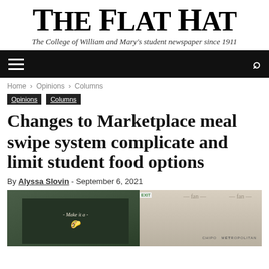The Flat Hat
The College of William and Mary's student newspaper since 1911
Home › Opinions › Columns
Opinions  Columns
Changes to Marketplace meal swipe system complicate and limit student food options
By Alyssa Slovin - September 6, 2021
[Figure (photo): Interior photo of the Marketplace dining hall at William and Mary, showing a dark green chalkboard sign reading 'Make it a' on the left side and the Chipotle/Metropolitan station signage on the right, with ceiling fans visible above.]